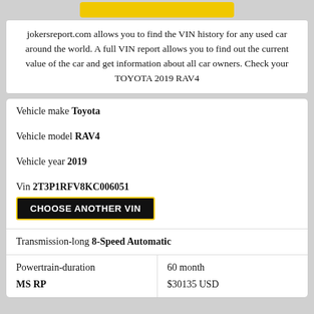jokersreport.com allows you to find the VIN history for any used car around the world. A full VIN report allows you to find out the current value of the car and get information about all car owners. Check your TOYOTA 2019 RAV4
| Vehicle make | Toyota |
| Vehicle model | RAV4 |
| Vehicle year | 2019 |
| Vin | 2T3P1RFV8KC006051 |
| Transmission-long | 8-Speed Automatic |
| Powertrain-duration | 60 month |
| MS RP | $30135 USD |